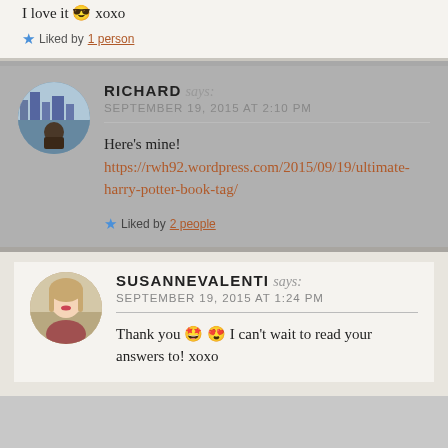I love it 😎 xoxo
Liked by 1 person
RICHARD says: SEPTEMBER 19, 2015 AT 2:10 PM
Here's mine! https://rwh92.wordpress.com/2015/09/19/ultimate-harry-potter-book-tag/
Liked by 2 people
SUSANNEVALENTI says: SEPTEMBER 19, 2015 AT 1:24 PM
Thank you 🤩 😍 I can't wait to read your answers to! xoxo